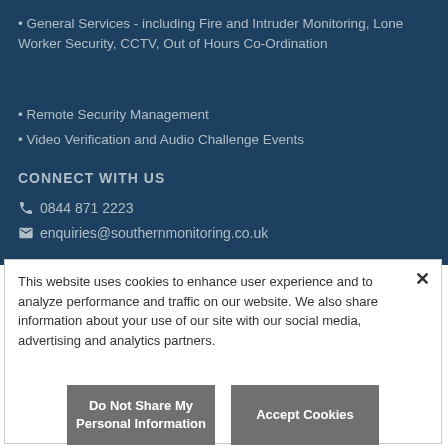• General Services - including Fire and Intruder Monitoring, Lone Worker Security, CCTV, Out of Hours Co-Ordination
• Remote Security Management
• Video Verification and Audio Challenge Events
CONNECT WITH US
📞 0844 871 2223
✉ enquiries@southernmonitoring.co.uk
This website uses cookies to enhance user experience and to analyze performance and traffic on our website. We also share information about your use of our site with our social media, advertising and analytics partners.
Do Not Share My Personal Information
Accept Cookies